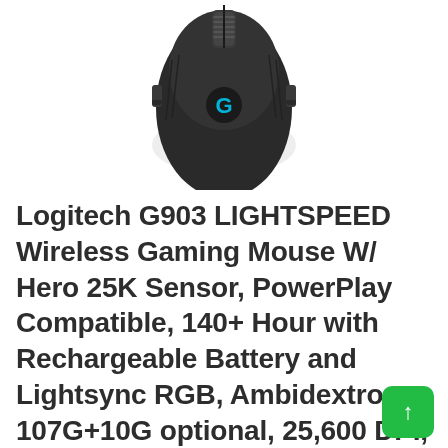[Figure (photo): Top-down view of a black Logitech G903 wireless gaming mouse showing the Logitech G logo in blue/cyan on the top surface, with scroll wheel visible at top]
Logitech G903 LIGHTSPEED Wireless Gaming Mouse W/ Hero 25K Sensor, PowerPlay Compatible, 140+ Hour with Rechargeable Battery and Lightsync RGB, Ambidextrous 107G+10G optional, 25,600 DPI,